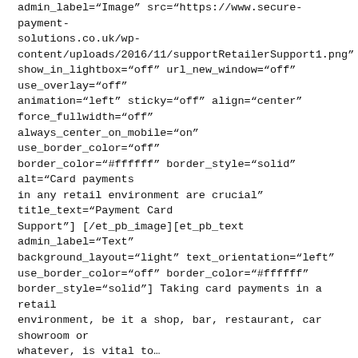admin_label="Image" src="https://www.secure-payment-solutions.co.uk/wp-content/uploads/2016/11/supportRetailerSupport1.png" show_in_lightbox="off" url_new_window="off" use_overlay="off" animation="left" sticky="off" align="center" force_fullwidth="off" always_center_on_mobile="on" use_border_color="off" border_color="#ffffff" border_style="solid" alt="Card payments in any retail environment are crucial" title_text="Payment Card Support"] [/et_pb_image][et_pb_text admin_label="Text" background_layout="light" text_orientation="left" use_border_color="off" border_color="#ffffff" border_style="solid"] Taking card payments in a retail environment, be it a shop, bar, restaurant, car showroom or whatever, is vital to...
Read More
Contact Us
Carefree Consultancy Ltd T/A Secure Payment Solutions